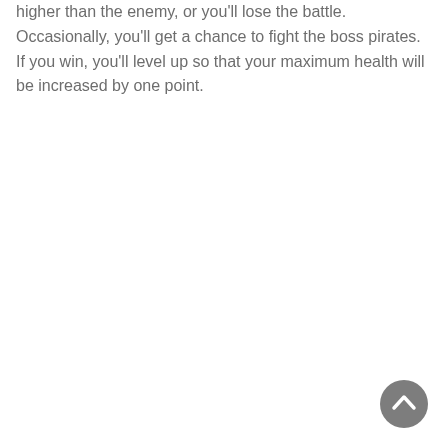higher than the enemy, or you'll lose the battle. Occasionally, you'll get a chance to fight the boss pirates. If you win, you'll level up so that your maximum health will be increased by one point.
[Figure (other): A circular back-to-top button with a dark grey background and a white upward-pointing chevron arrow icon]